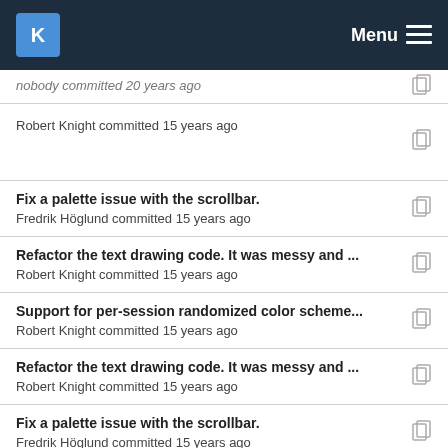KDE Menu
nobody committed 20 years ago
Robert Knight committed 15 years ago
Fix a palette issue with the scrollbar. Fredrik Höglund committed 15 years ago
Refactor the text drawing code. It was messy and ... Robert Knight committed 15 years ago
Support for per-session randomized color scheme... Robert Knight committed 15 years ago
Refactor the text drawing code. It was messy and ... Robert Knight committed 15 years ago
Fix a palette issue with the scrollbar. Fredrik Höglund committed 15 years ago
Remove a few unused methods and member varia... Robert Knight committed 15 years ago